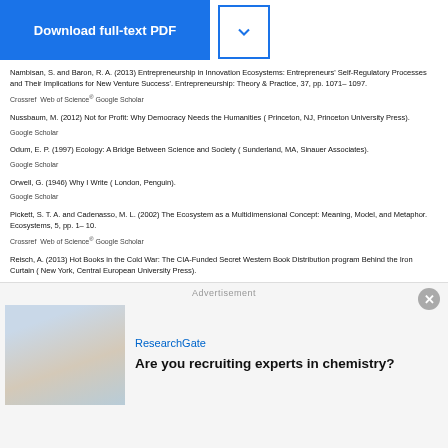[Figure (other): Download full-text PDF button (blue) and dropdown chevron button]
Nambisan, S. and Baron, R. A. (2013) Entrepreneurship in Innovation Ecosystems: Entrepreneurs' Self-Regulatory Processes and Their Implications for New Venture Success'. Entrepreneurship: Theory & Practice, 37, pp. 1071– 1097.
Crossref Web of Science® Google Scholar
Nussbaum, M. (2012) Not for Profit: Why Democracy Needs the Humanities ( Princeton, NJ, Princeton University Press).
Google Scholar
Odum, E. P. (1997) Ecology: A Bridge Between Science and Society ( Sunderland, MA, Sinauer Associates).
Google Scholar
Orwell, G. (1946) Why I Write ( London, Penguin).
Google Scholar
Pickett, S. T. A. and Cadenasso, M. L. (2002) The Ecosystem as a Multidimensional Concept: Meaning, Model, and Metaphor. Ecosystems, 5, pp. 1– 10.
Crossref Web of Science® Google Scholar
Reisch, A. (2013) Hot Books in the Cold War: The CIA-Funded Secret Western Book Distribution program Behind the Iron Curtain ( New York, Central European University Press).
Google Scholar
Risso, L. (2014) Propaganda and Intelligence in the Cold War: The NATO Information Service ( London and New York, Routledge).
[Figure (infographic): Advertisement overlay: ResearchGate ad asking 'Are you recruiting experts in chemistry?' with image of people in lab coats]